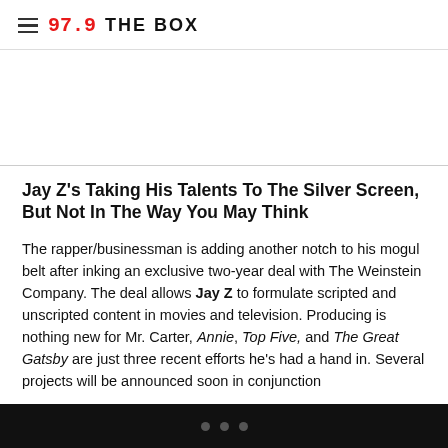97.9 THE BOX
Jay Z's Taking His Talents To The Silver Screen, But Not In The Way You May Think
The rapper/businessman is adding another notch to his mogul belt after inking an exclusive two-year deal with The Weinstein Company. The deal allows Jay Z to formulate scripted and unscripted content in movies and television. Producing is nothing new for Mr. Carter, Annie, Top Five, and The Great Gatsby are just three recent efforts he's had a hand in. Several projects will be announced soon in conjunction